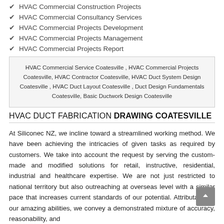HVAC Commercial Construction Projects
HVAC Commercial Consultancy Services
HVAC Commercial Projects Development
HVAC Commercial Projects Management
HVAC Commercial Projects Report
HVAC Commercial Service Coatesville , HVAC Commercial Projects Coatesville, HVAC Contractor Coatesville, HVAC Duct System Design Coatesville , HVAC Duct Layout Coatesville , Duct Design Fundamentals Coatesville, Basic Ductwork Design Coatesville
HVAC DUCT FABRICATION DRAWING COATESVILLE
At Siliconec NZ, we incline toward a streamlined working method. We have been achieving the intricacies of given tasks as required by customers. We take into account the request by serving the custom-made and modified solutions for retail, instructive, residential, industrial and healthcare expertise. We are not just restricted to national territory but also outreaching at overseas level with a similar pace that increases current standards of our potential. Attributable to our amazing abilities, we convey a demonstrated mixture of accuracy, reasonability, and